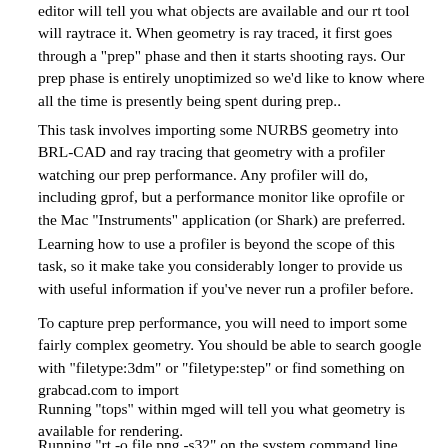editor will tell you what objects are available and our rt tool will raytrace it. When geometry is ray traced, it first goes through a "prep" phase and then it starts shooting rays. Our prep phase is entirely unoptimized so we'd like to know where all the time is presently being spent during prep..
This task involves importing some NURBS geometry into BRL-CAD and ray tracing that geometry with a profiler watching our prep performance. Any profiler will do, including gprof, but a performance monitor like oprofile or the Mac "Instruments" application (or Shark) are preferred.
Learning how to use a profiler is beyond the scope of this task, so it make take you considerably longer to provide us with useful information if you've never run a profiler before.
To capture prep performance, you will need to import some fairly complex geometry. You should be able to search google with "filetype:3dm" or "filetype:step" or find something on grabcad.com to import
Running "tops" within mged will tell you what geometry is available for rendering.
Running "rt -o file.png -s32" on the system command line (not